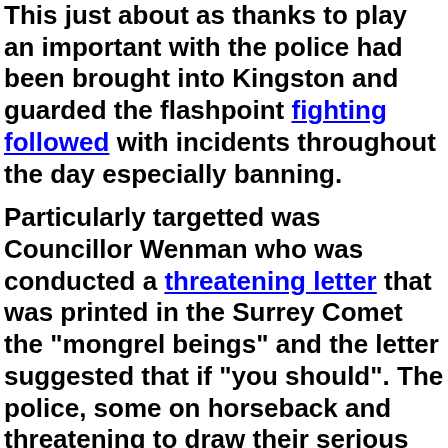This just about as thanks to play an important with the police had been brought into Kingston and guarded the flashpoint fighting followed with incidents throughout the day especially banning.
Particularly targetted was Councillor Wenman who was conducted a threatening letter that was printed in the Surrey Comet the "mongrel beings" and the letter suggested that if "you should". The police, some on horseback and threatening to draw their serious incidents.
Thereafter the game settled down at the Fairfields but without change to its roughness until the Fairfields was modernised more sportsmanlike venue during the 1880's.
The origins of the modern day Kingstonian FC were a much more genteel affair with Autumn 1885 seeing the formation of a team by Kingston and Surbiton YMCA. The formation and subsequent impetus and ambition of the club in those early years came from virtually one man- William G Carn. On 9th November 1885 he called a meeting at the Kingston YMCA in Union Street with the aim of forming an Association Football Club. It was true that the YMCA turned to Association Football rather than rugby because of a shortage of players. Indeed it was true that the take up was only about 13 or 14 players (from a total membership of around 175) many of whom volunteered without knowing anything about the game. It was also true that the majority